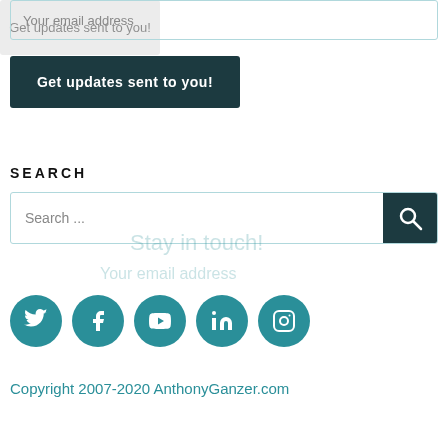Your email address
Get updates sent to you!
SEARCH
Search ...
[Figure (other): Social media icon buttons: Twitter, Facebook, YouTube, LinkedIn, Instagram — teal circular icons]
Copyright 2007-2020 AnthonyGanzer.com